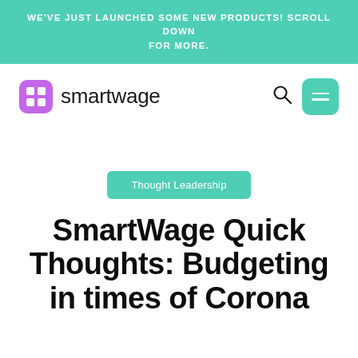WE'VE JUST LAUNCHED SOME NEW PRODUCTS! SCROLL DOWN FOR MORE.
[Figure (logo): SmartWage logo: purple rounded square icon with grid pattern and 'smartwage' wordmark]
Thought Leadership
SmartWage Quick Thoughts: Budgeting in times of Corona